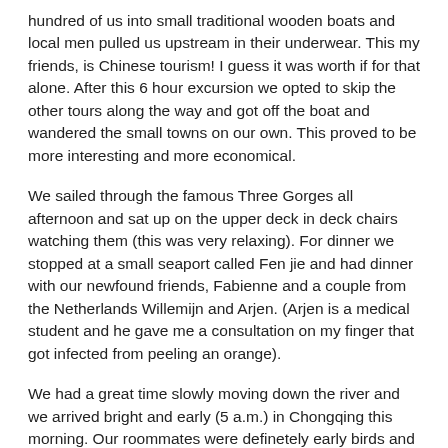hundred of us into small traditional wooden boats and local men pulled us upstream in their underwear. This my friends, is Chinese tourism! I guess it was worth if for that alone. After this 6 hour excursion we opted to skip the other tours along the way and got off the boat and wandered the small towns on our own. This proved to be more interesting and more economical.
We sailed through the famous Three Gorges all afternoon and sat up on the upper deck in deck chairs watching them (this was very relaxing). For dinner we stopped at a small seaport called Fen jie and had dinner with our newfound friends, Fabienne and a couple from the Netherlands Willemijn and Arjen. (Arjen is a medical student and he gave me a consultation on my finger that got infected from peeling an orange).
We had a great time slowly moving down the river and we arrived bright and early (5 a.m.) in Chongqing this morning. Our roommates were definetely early birds and they had us ready by 6 a.m. for the tour of Chongqing that we had signed onto with them. It was a great ultra cheap tour that brought